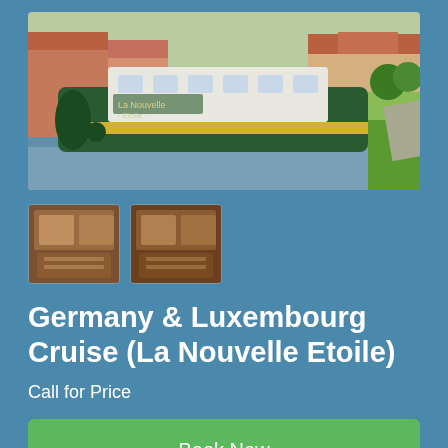[Figure (photo): A large green and white canal barge named 'La Nouvelle Etoile' docked beside a tree-lined waterway in a European village with red-roofed buildings in the background.]
[Figure (photo): Thumbnail image of a cabin interior with wooden furnishings and bedding.]
[Figure (photo): Thumbnail image of another cabin interior with wooden furnishings.]
Germany & Luxembourg Cruise (La Nouvelle Etoile)
Call for Price
Book Now
Request a callback
Email Us